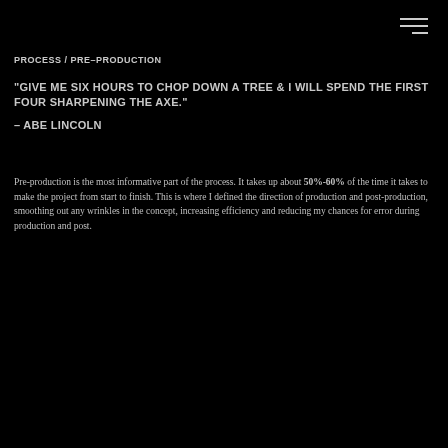PROCESS / PRE-PRODUCTION
"GIVE ME SIX HOURS TO CHOP DOWN A TREE & I WILL SPEND THE FIRST FOUR SHARPENING THE AXE."
– ABE LINCOLN
Pre-production is the most informative part of the process. It takes up about 50%-60% of the time it takes to make the project from start to finish. This is where I defined the direction of production and post-production, smoothing out any wrinkles in the concept, increasing efficiency and reducing my chances for error during production and post.